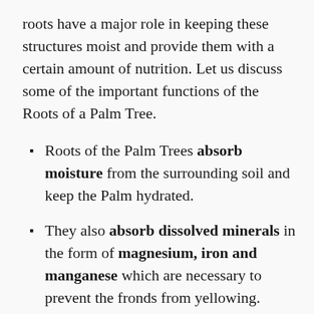roots have a major role in keeping these structures moist and provide them with a certain amount of nutrition. Let us discuss some of the important functions of the Roots of a Palm Tree.
Roots of the Palm Trees absorb moisture from the surrounding soil and keep the Palm hydrated.
They also absorb dissolved minerals in the form of magnesium, iron and manganese which are necessary to prevent the fronds from yellowing.
They conduct the absorbed water and nutrients up to the length of the trunk and to the fronds to